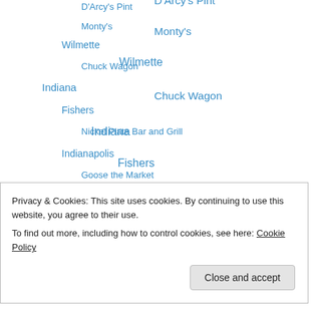D'Arcy's Pint
Monty's
Wilmette
Chuck Wagon
Indiana
Fishers
Nickel Plate Bar and Grill
Indianapolis
Goose the Market
Shapiro's Delicatessen
Iowa
Des Moines
Gateway Market and Cafe
Michigan
Ohio
Privacy & Cookies: This site uses cookies. By continuing to use this website, you agree to their use.
To find out more, including how to control cookies, see here: Cookie Policy